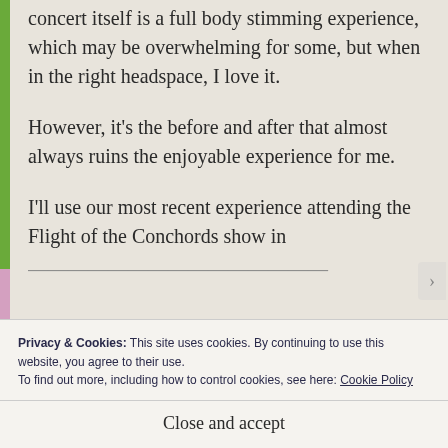concert itself is a full body stimming experience, which may be overwhelming for some, but when in the right headspace, I love it.
However, it's the before and after that almost always ruins the enjoyable experience for me.
I'll use our most recent experience attending the Flight of the Conchords show in
Privacy & Cookies: This site uses cookies. By continuing to use this website, you agree to their use. To find out more, including how to control cookies, see here: Cookie Policy
Close and accept